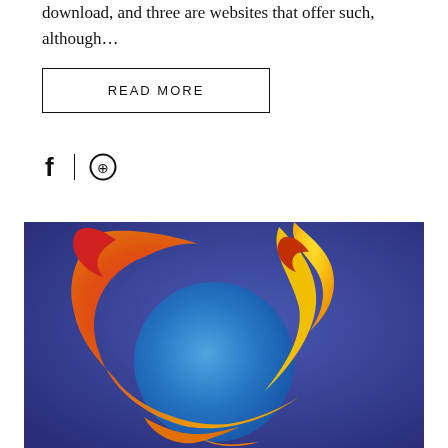download, and three are websites that offer such, although…
READ MORE
[Figure (logo): Firefox browser logo on dark blue/indigo background — stylized fox wrapped around a blue globe with orange, red, and yellow flame colors]
[Figure (illustration): Social share icons: Facebook (f) and Pinterest (circled pin icon) separated by a vertical divider line]